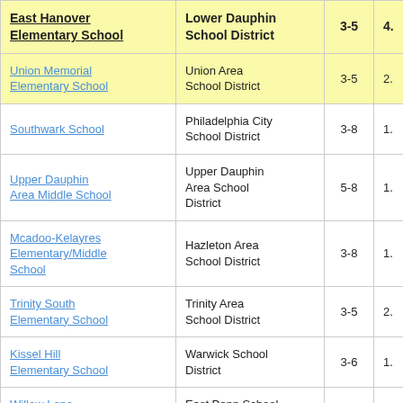| School | District | Grades |  |
| --- | --- | --- | --- |
| East Hanover Elementary School | Lower Dauphin School District | 3-5 | 4. |
| Union Memorial Elementary School | Union Area School District | 3-5 | 2. |
| Southwark School | Philadelphia City School District | 3-8 | 1. |
| Upper Dauphin Area Middle School | Upper Dauphin Area School District | 5-8 | 1. |
| Mcadoo-Kelayres Elementary/Middle School | Hazleton Area School District | 3-8 | 1. |
| Trinity South Elementary School | Trinity Area School District | 3-5 | 2. |
| Kissel Hill Elementary School | Warwick School District | 3-6 | 1. |
| Willow Lane Elementary School | East Penn School District | 3-5 | 1. |